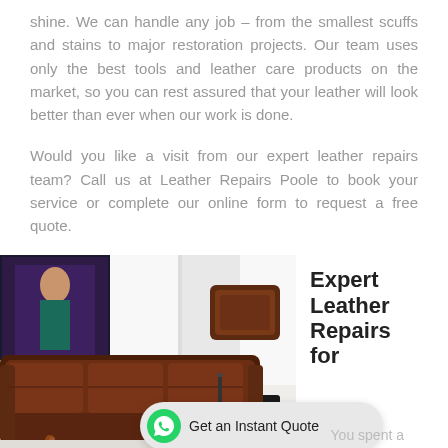shine. We can handle any job – from the smallest scuffs and stains to major restoration projects. Our team uses only the best tools and leather care products on the market, so you can rest assured that your leather will look better than ever when our work is done.
Would you like a visit from our expert leather repairs team? Call us at Leather Repairs Poole to book your service or complete our online form to request a free quote.
[Figure (photo): Photo of a brown leather sofa set in a modern living room with a TV/screen visible in the background]
Expert Leather Repairs for
Get an Instant Quote
You spent a